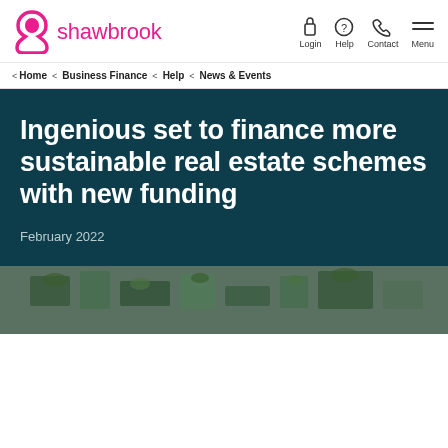[Figure (logo): Shawbrook bank logo - pink S-shaped icon and pink 'shawbrook' wordmark]
Login  Help  Contact  Menu
< Home  < Business Finance  < Help  < News & Events
Ingenious set to finance more sustainable real estate schemes with new funding
February 2022
[Figure (photo): Aerial/overhead photo of green sustainable real estate buildings]